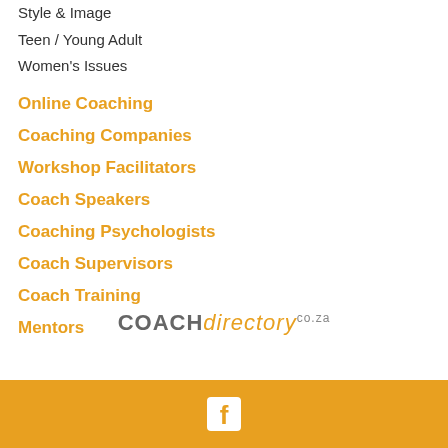Style & Image
Teen / Young Adult
Women's Issues
Online Coaching
Coaching Companies
Workshop Facilitators
Coach Speakers
Coaching Psychologists
Coach Supervisors
Coach Training
Mentors
[Figure (logo): COACHdirectory.co.za logo]
Facebook icon on orange bar